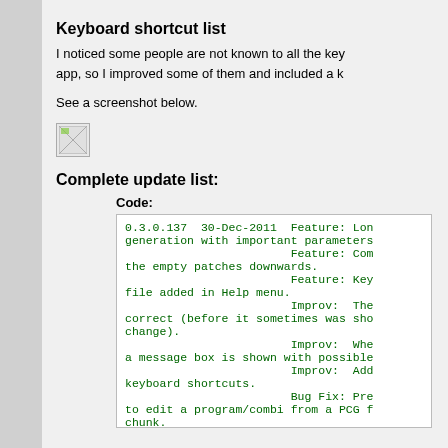Keyboard shortcut list
I noticed some people are not known to all the key app, so I improved some of them and included a k
See a screenshot below.
[Figure (screenshot): Broken image placeholder icon]
Complete update list:
Code:
0.3.0.137  30-Dec-2011  Feature: Lon
generation with important parameters
                        Feature: Com
the empty patches downwards.
                        Feature: Key
file added in Help menu.
                        Improv:  The
correct (before it sometimes was sho
change).
                        Improv:  Whe
a message box is shown with possible
                        Improv:  Add
keyboard shortcuts.
                        Bug Fix: Pre
to edit a program/combi from a PCG f
chunk.
                        Bug Fix: The